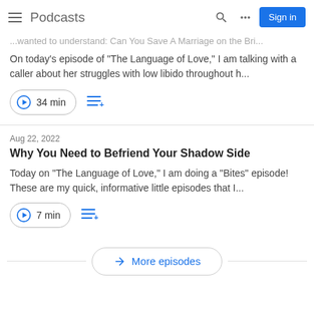Podcasts | Sign in
...wanted to understand: Can You Save A Marriage on the Bri...
On today's episode of "The Language of Love," I am talking with a caller about her struggles with low libido throughout h...
34 min
Aug 22, 2022
Why You Need to Befriend Your Shadow Side
Today on "The Language of Love," I am doing a "Bites" episode! These are my quick, informative little episodes that I...
7 min
More episodes